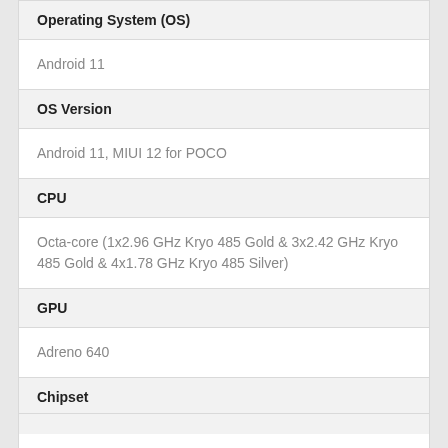| Attribute | Value |
| --- | --- |
| Operating System (OS) | Android 11 |
| OS Version | Android 11, MIUI 12 for POCO |
| CPU | Octa-core (1x2.96 GHz Kryo 485 Gold & 3x2.42 GHz Kryo 485 Gold & 4x1.78 GHz Kryo 485 Silver) |
| GPU | Adreno 640 |
| Chipset | Qualcomm Snapdragon 860 (7 nm) |